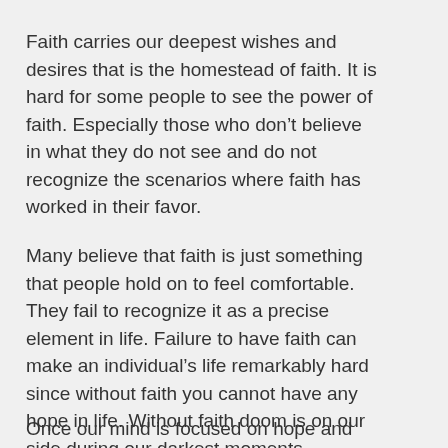Faith carries our deepest wishes and desires that is the homestead of faith. It is hard for some people to see the power of faith. Especially those who don't believe in what they do not see and do not recognize the scenarios where faith has worked in their favor.
Many believe that faith is just something that people hold on to feel comfortable. They fail to recognize it as a precise element in life. Failure to have faith can make an individual's life remarkably hard since without faith you cannot have any hope in life. Without faith doom is on our side during our darkest moments.
Once our mind is focused on hope and